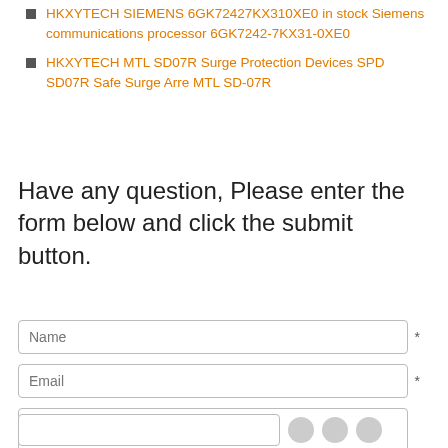HKXYTECH SIEMENS 6GK72427KX310XE0 in stock Siemens communications processor 6GK7242-7KX31-0XE0
HKXYTECH MTL SD07R Surge Protection Devices SPD SD07R Safe Surge Arre MTL SD-07R
Have any question, Please enter the form below and click the submit button.